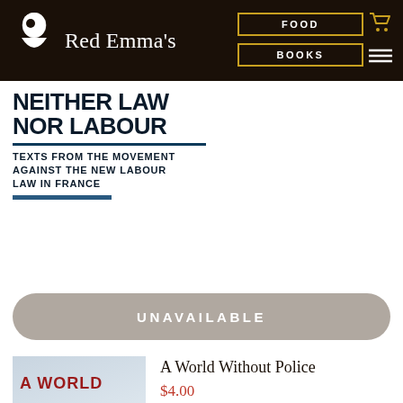Red Emma's — FOOD | BOOKS
[Figure (photo): Book cover for 'Neither Law Nor Labour: Texts from the Movement Against the New Labour Law in France' — black and white cover with bold black text]
UNAVAILABLE
A World Without Police
$4.00
[Figure (photo): Book cover for 'A World Without Police' — light blue/white image with dark red text reading 'A WORLD']